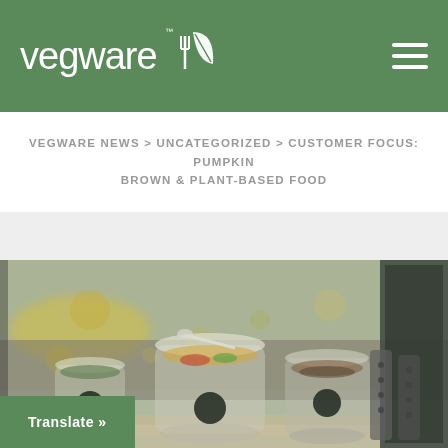[Figure (logo): Vegware logo: white text 'vegware' with TM mark and a fork-leaf icon on green background, hamburger menu icon top right]
VEGWARE NEWS > UNCATEGORIZED > CUSTOMER FOCUS: PUMPKIN BROWN & PLANT-BASED FOOD
[Figure (photo): Photo of food containers/bowls with plant-based food on a window counter, blurred street scene visible in background with a 'Translate »' button overlay at bottom left]